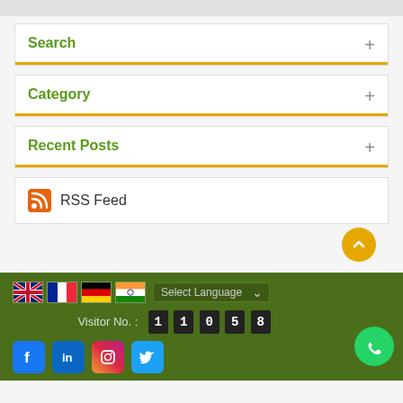Search
Category
Recent Posts
RSS Feed
Select Language | Visitor No.: 11058 | Social links: Facebook, LinkedIn, Instagram, Twitter